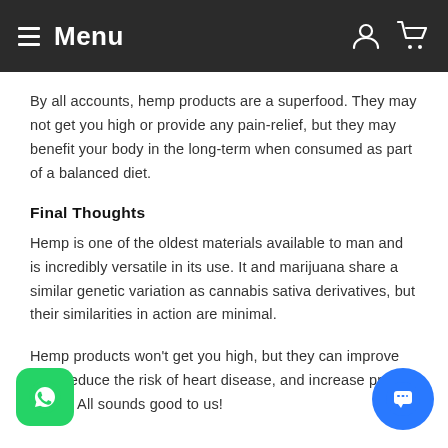☰ Menu
By all accounts, hemp products are a superfood. They may not get you high or provide any pain-relief, but they may benefit your body in the long-term when consumed as part of a balanced diet.
Final Thoughts
Hemp is one of the oldest materials available to man and is incredibly versatile in its use. It and marijuana share a similar genetic variation as cannabis sativa derivatives, but their similarities in action are minimal.
Hemp products won't get you high, but they can improve skin, reduce the risk of heart disease, and increase protein intake. All sounds good to us!